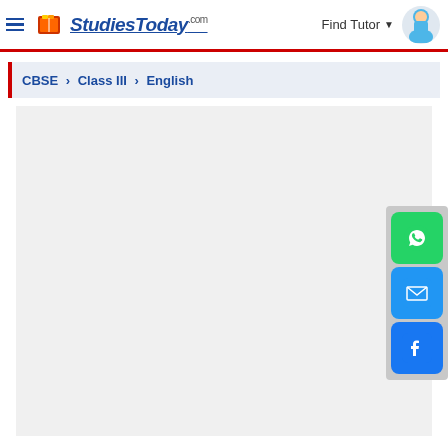StudiesToday.com — Find Tutor
CBSE › Class III › English
[Figure (screenshot): Empty content area placeholder for educational content]
[Figure (infographic): Social sharing buttons: WhatsApp (green), Email (blue), Facebook (blue)]